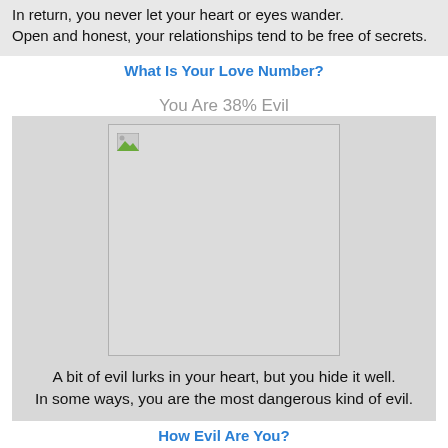In return, you never let your heart or eyes wander.
Open and honest, your relationships tend to be free of secrets.
What Is Your Love Number?
You Are 38% Evil
[Figure (other): Broken image placeholder with small image icon in top-left corner]
A bit of evil lurks in your heart, but you hide it well.
In some ways, you are the most dangerous kind of evil.
How Evil Are You?